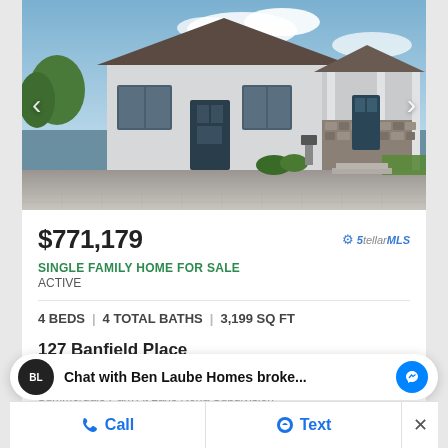[Figure (photo): Exterior photo of a single-family home with paved driveway, white/gray siding, stone accents, and front porch with columns]
$771,179
SINGLE FAMILY HOME FOR SALE
ACTIVE
4 BEDS | 4 TOTAL BATHS | 3,199 SQ FT
127 Banfield Place
Orlando, FL 32827
Summerdale Park At Lake Nona Subdivision
Chat with Ben Laube Homes broke...
Call
Text